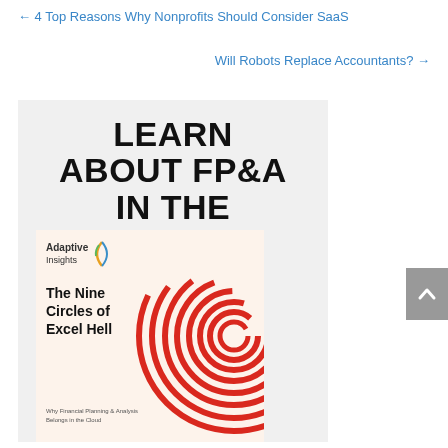← 4 Top Reasons Why Nonprofits Should Consider SaaS
Will Robots Replace Accountants? →
[Figure (illustration): Promotional banner with gray background reading 'LEARN ABOUT FP&A IN THE CLOUD' in bold black uppercase text, with a book cover image below showing 'The Nine Circles of Excel Hell' by Adaptive Insights with red concentric spiral circles on a cream background]